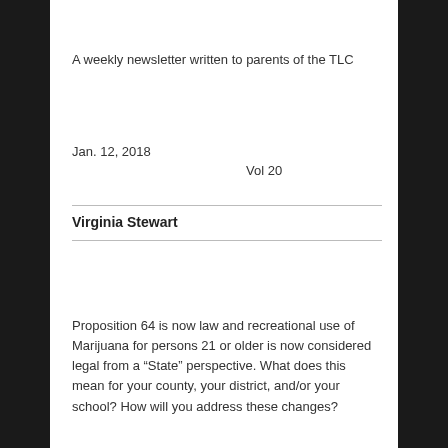A weekly newsletter written to parents of the TLC
Jan. 12, 2018
Vol 20
Virginia Stewart
Proposition 64 is now law and recreational use of Marijuana for persons 21 or older is now considered legal from a “State” perspective. What does this mean for your county, your district, and/or your school? How will you address these changes?